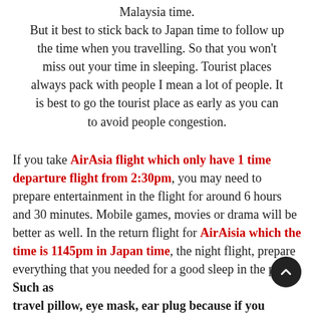Malaysia time. But it best to stick back to Japan time to follow up the time when you travelling. So that you won't miss out your time in sleeping. Tourist places always pack with people I mean a lot of people. It is best to go the tourist place as early as you can to avoid people congestion.
If you take AirAsia flight which only have 1 time departure flight from 2:30pm, you may need to prepare entertainment in the flight for around 6 hours and 30 minutes. Mobile games, movies or drama will be better as well. In the return flight for AirAisia which the time is 1145pm in Japan time, the night flight, prepare everything that you needed for a good sleep in the plane. Such as travel pillow, eye mask, ear plug because if you